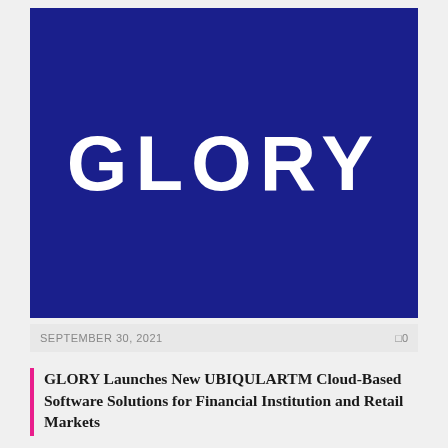[Figure (logo): GLORY company logo — white bold uppercase text 'GLORY' on a dark navy/royal blue background square]
SEPTEMBER 30, 2021    0
GLORY Launches New UBIQULARTM Cloud-Based Software Solutions for Financial Institution and Retail Markets